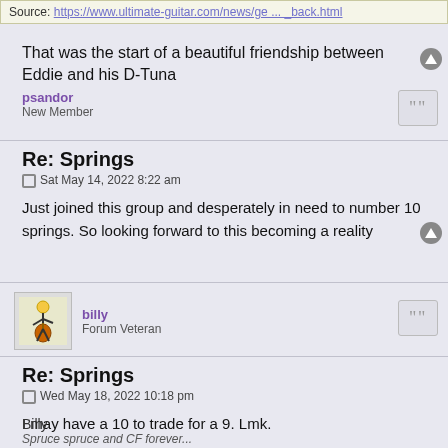Source: https://www.ultimate-guitar.com/news/ge ... _back.html
That was the start of a beautiful friendship between Eddie and his D-Tuna
psandor
New Member
Re: Springs
Sat May 14, 2022 8:22 am
Just joined this group and desperately in need to number 10 springs. So looking forward to this becoming a reality
billy
Forum Veteran
Re: Springs
Wed May 18, 2022 10:18 pm
I may have a 10 to trade for a 9. Lmk.
Billy
Spruce spruce and CF forever...